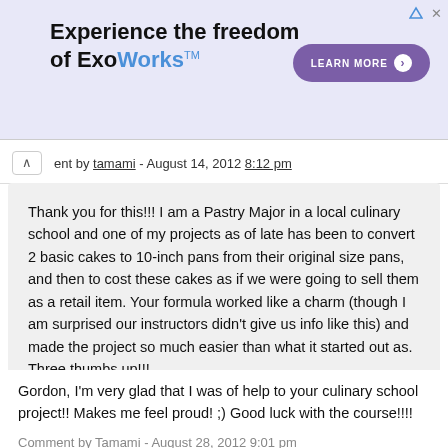[Figure (illustration): Advertisement banner for ExoWorks. Text reads 'Experience the freedom of ExoWorks™' with a purple 'LEARN MORE' button on the right side. Blue/purple background with navigation icons top right.]
ent by tamami - August 14, 2012 8:12 pm
Thank you for this!!! I am a Pastry Major in a local culinary school and one of my projects as of late has been to convert 2 basic cakes to 10-inch pans from their original size pans, and then to cost these cakes as if we were going to sell them as a retail item. Your formula worked like a charm (though I am surprised our instructors didn't give us info like this) and made the project so much easier than what it started out as. Three thumbs up!!!
Comment by Gordon - August 27, 2012 11:36 pm
Gordon, I'm very glad that I was of help to your culinary school project!! Makes me feel proud! ;) Good luck with the course!!!!
Comment by Tamami - August 28, 2012 9:01 pm